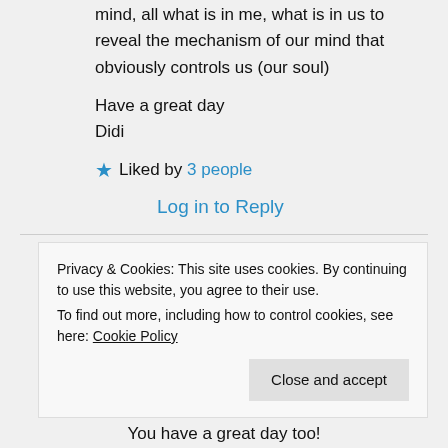mind, all what is in me, what is in us to reveal the mechanism of our mind that obviously controls us (our soul)

Have a great day
Didi
★ Liked by 3 people
Log in to Reply
Privacy & Cookies: This site uses cookies. By continuing to use this website, you agree to their use.
To find out more, including how to control cookies, see here: Cookie Policy
Close and accept
You have a great day too!